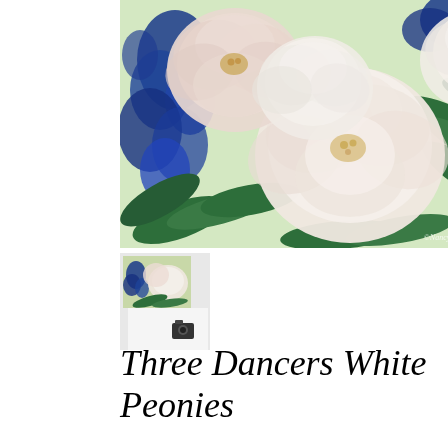[Figure (illustration): Oil painting of white and pink peonies with blue flowers (delphiniums) and green leaves. The painting has a watermark reading ©NancyMedina.com in the lower right corner.]
[Figure (photo): Thumbnail photograph showing the painting displayed on a surface, with a small camera visible in the lower right of the thumbnail.]
Three Dancers White Peonies